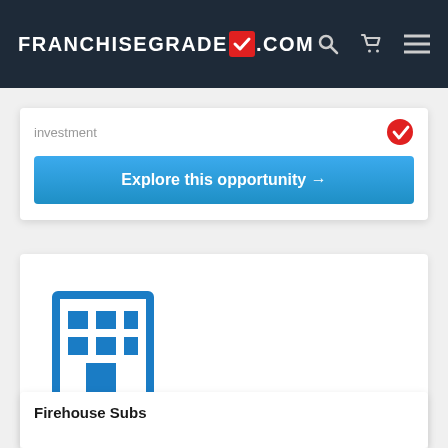[Figure (logo): FranchiseGrade.com logo with checkmark icon in white on dark navy header, with search, cart, and menu icons]
investment
Explore this opportunity →
[Figure (illustration): Blue building/office icon on white card]
Firehouse Subs